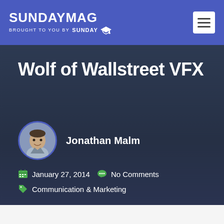SUNDAY MAG — BROUGHT TO YOU BY SUNDAY U
Wolf of Wallstreet VFX
Jonathan Malm
January 27, 2014   No Comments   Communication & Marketing